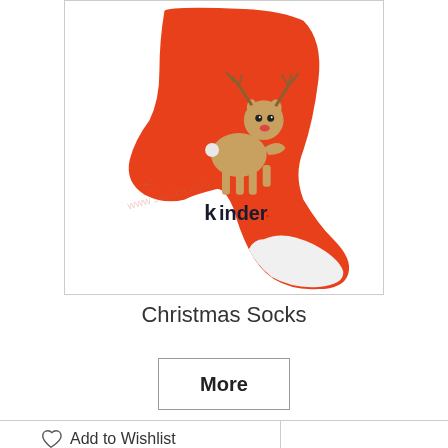[Figure (photo): A red Christmas stocking with a cartoon reindeer on it and the Kinder logo text. The stocking has a white toe/heel area at the bottom right. There is a faint watermark across the image.]
Christmas Socks
More
Add to Wishlist